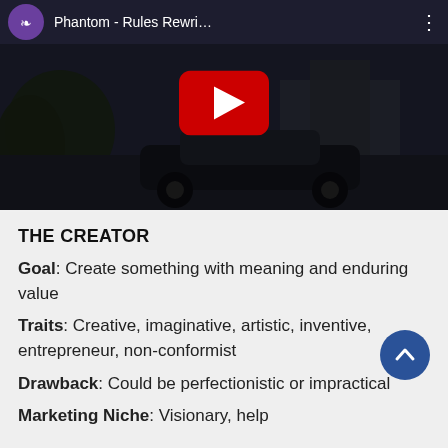[Figure (screenshot): YouTube video thumbnail showing a Rolls-Royce Phantom car with video title 'Phantom - Rules Rewri...' and YouTube play button overlay]
THE CREATOR
Goal: Create something with meaning and enduring value
Traits: Creative, imaginative, artistic, inventive, entrepreneur, non-conformist
Drawback: Could be perfectionistic or impractical
Marketing Niche: Visionary, help